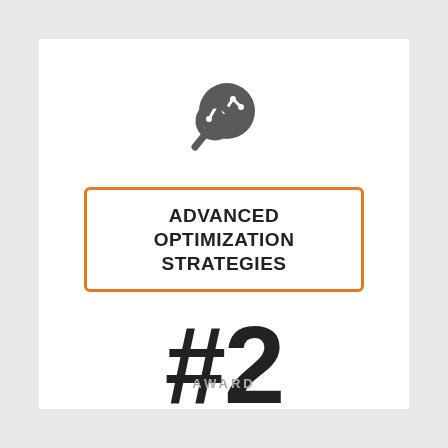[Figure (illustration): A circular dark gray icon depicting a magnifying glass overlaid with a line chart (data analysis / analytics symbol)]
ADVANCED OPTIMIZATION STRATEGIES
#2
AWARD